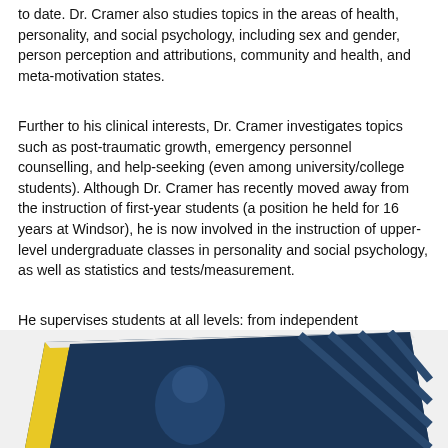to date. Dr. Cramer also studies topics in the areas of health, personality, and social psychology, including sex and gender, person perception and attributions, community and health, and meta-motivation states.
Further to his clinical interests, Dr. Cramer investigates topics such as post-traumatic growth, emergency personnel counselling, and help-seeking (even among university/college students). Although Dr. Cramer has recently moved away from the instruction of first-year students (a position he held for 16 years at Windsor), he is now involved in the instruction of upper-level undergraduate classes in personality and social psychology, as well as statistics and tests/measurement.
He supervises students at all levels: from independent undergraduate projects to honours theses, as well as theses at both the Master's and doctoral level.
[Figure (photo): Partial view of a book with a dark blue and yellow cover, showing the spine and front cover at an angle]